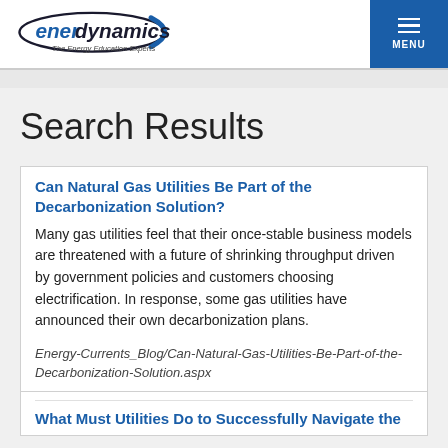enerdynamics — The Energy Education Experts | MENU
Search Results
Can Natural Gas Utilities Be Part of the Decarbonization Solution?
Many gas utilities feel that their once-stable business models are threatened with a future of shrinking throughput driven by government policies and customers choosing electrification. In response, some gas utilities have announced their own decarbonization plans.
Energy-Currents_Blog/Can-Natural-Gas-Utilities-Be-Part-of-the-Decarbonization-Solution.aspx
What Must Utilities Do to Successfully Navigate the